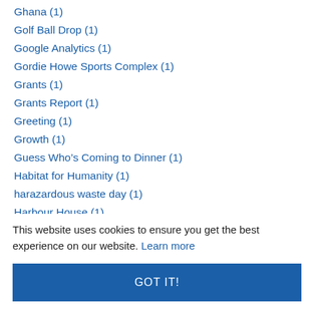Ghana (1)
Golf Ball Drop (1)
Google Analytics (1)
Gordie Howe Sports Complex (1)
Grants (1)
Grants Report (1)
Greeting (1)
Growth (1)
Guess Who’s Coming to Dinner (1)
Habitat for Humanity (1)
harazardous waste day (1)
Harbour House (1)
Harvard School of Business (1)
High... (1)
This website uses cookies to ensure you get the best experience on our website. Learn more
GOT IT!